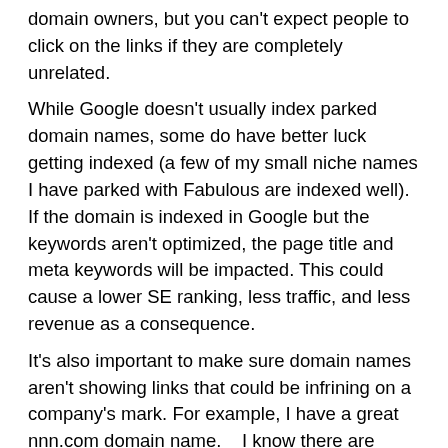domain owners, but you can't expect people to click on the links if they are completely unrelated.
While Google doesn't usually index parked domain names, some do have better luck getting indexed (a few of my small niche names I have parked with Fabulous are indexed well). If the domain is indexed in Google but the keywords aren't optimized, the page title and meta keywords will be impacted. This could cause a lower SE ranking, less traffic, and less revenue as a consequence.
It's also important to make sure domain names aren't showing links that could be infrining on a company's mark. For example, I have a great nnn.com domain name.   I know there are several casinos who use numbers as their brand name, so I make sure the domain isn't showing casino or gambling related advertising. While it is usually easy for a company to manipulate parked names to show what looks like infringing ads using the search function, domain owners should be able to prove this manipulation.
Although PPC revenue has been generally declining across all